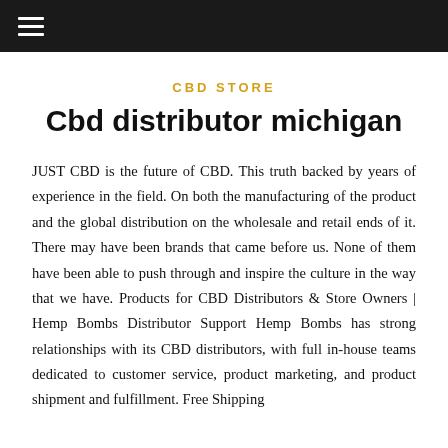☰
CBD STORE
Cbd distributor michigan
JUST CBD is the future of CBD. This truth backed by years of experience in the field. On both the manufacturing of the product and the global distribution on the wholesale and retail ends of it. There may have been brands that came before us. None of them have been able to push through and inspire the culture in the way that we have. Products for CBD Distributors & Store Owners | Hemp Bombs Distributor Support Hemp Bombs has strong relationships with its CBD distributors, with full in-house teams dedicated to customer service, product marketing, and product shipment and fulfillment. Free Shipping